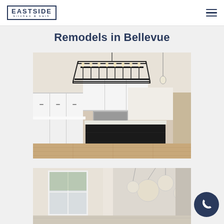Eastside kitchen & bath — navigation header
Remodels in Bellevue
[Figure (photo): Modern kitchen remodel with white cabinets, dark island, stainless appliances, and a large black rectangular chandelier with candle-style bulbs.]
[Figure (photo): Bathroom remodel with light walls, a window, and a decorative glass globe chandelier visible in the upper right.]